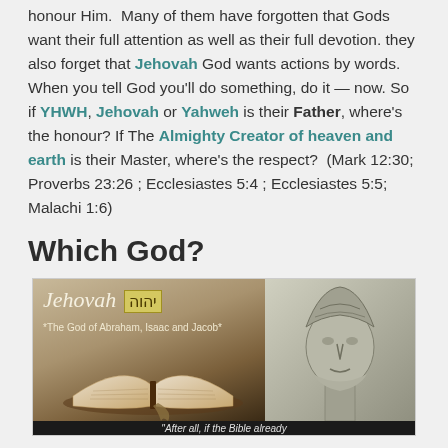honour Him.  Many of them have forgotten that Gods want their full attention as well as their full devotion. they also forget that Jehovah God wants actions by words. When you tell God you'll do something, do it — now. So if YHWH, Jehovah or Yahweh is their Father, where's the honour? If The Almighty Creator of heaven and earth is their Master, where's the respect?  (Mark 12:30; Proverbs 23:26 ; Ecclesiastes 5:4 ; Ecclesiastes 5:5; Malachi 1:6)
Which God?
[Figure (photo): Composite image showing left panel with 'Jehovah' in italic script, Hebrew text יהוה in a gold box, subtitle '*The God of Abraham, Isaac and Jacob*', and an open Bible book; right panel showing an ancient stone statue bust with ornate headdress. Caption at bottom reads '*After all, if the Bible already']